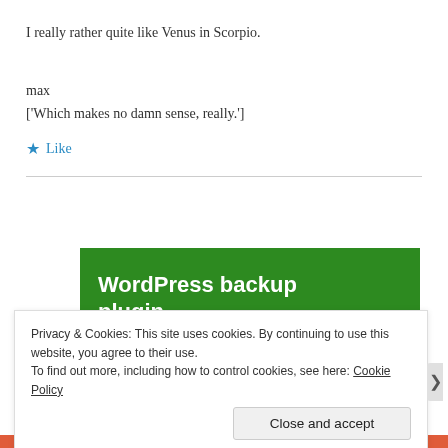I really rather quite like Venus in Scorpio.
max
['Which makes no damn sense, really.']
★ Like
[Figure (screenshot): Green banner with white bold text 'WordPress backup plugin']
Privacy & Cookies: This site uses cookies. By continuing to use this website, you agree to their use.
To find out more, including how to control cookies, see here: Cookie Policy
Close and accept